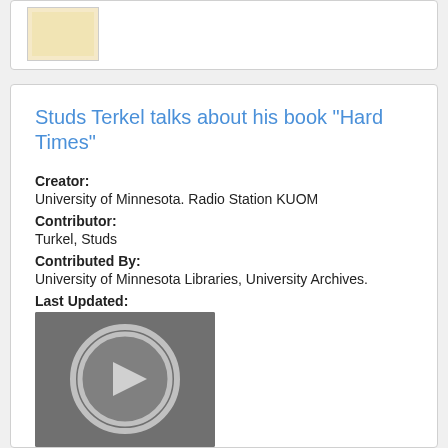[Figure (illustration): Top card with a small book cover thumbnail image with beige/cream color]
Studs Terkel talks about his book "Hard Times"
Creator:
University of Minnesota. Radio Station KUOM
Contributor:
Turkel, Studs
Contributed By:
University of Minnesota Libraries, University Archives.
Last Updated:
2017-11-28
[Figure (illustration): Dark gray media player thumbnail with a circular play button icon]